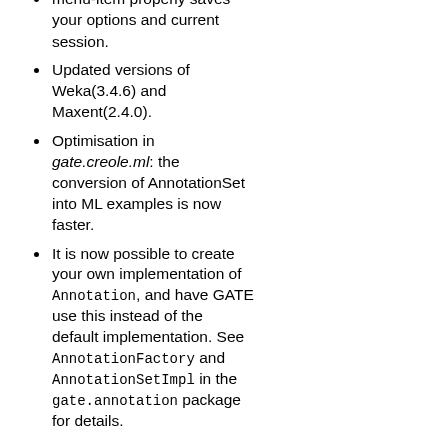menu-item properly saves your options and current session.
Updated versions of Weka(3.4.6) and Maxent(2.4.0).
Optimisation in gate.creole.ml: the conversion of AnnotationSet into ML examples is now faster.
It is now possible to create your own implementation of Annotation, and have GATE use this instead of the default implementation. See AnnotationFactory and AnnotationSetImpl in the gate.annotation package for details.
A.22.3 Bug Fixes
The Tree Tagger wrapper has been updated in order to